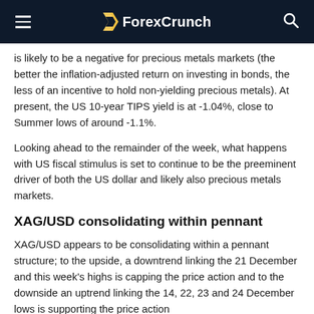ForexCrunch
is likely to be a negative for precious metals markets (the better the inflation-adjusted return on investing in bonds, the less of an incentive to hold non-yielding precious metals). At present, the US 10-year TIPS yield is at -1.04%, close to Summer lows of around -1.1%.
Looking ahead to the remainder of the week, what happens with US fiscal stimulus is set to continue to be the preeminent driver of both the US dollar and likely also precious metals markets.
XAG/USD consolidating within pennant
XAG/USD appears to be consolidating within a pennant structure; to the upside, a downtrend linking the 21 December and this week's highs is capping the price action and to the downside an uptrend linking the 14, 22, 23 and 24 December lows is supporting the price action